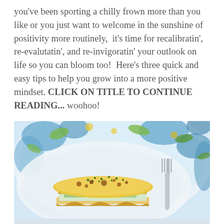you've been sporting a chilly frown more than you like or you just want to welcome in the sunshine of positivity more routinely,  it's time for recalibratin', re-evalutatin', and re-invigoratin' your outlook on life so you can bloom too!  Here's three quick and easy tips to help you grow into a more positive mindset. CLICK ON TITLE TO CONTINUE READING... woohoo!
[Figure (photo): A close-up food photo of a portion of baked lasagna roll-up with melted golden cheese and chopped fresh herbs on top, served on a white plate with a decorative blue, green, and yellow floral patterned fabric or plate in the background. A fork is visible on the right side.]